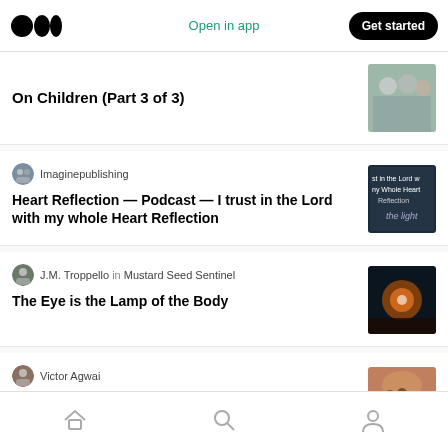Medium logo | Open in app | Get started
On Children (Part 3 of 3)
Imaginepublishing
Heart Reflection — Podcast — I trust in the Lord with my whole Heart Reflection
J.M. Troppello in Mustard Seed Sentinel
The Eye is the Lamp of the Body
Victor Agwai
Actions
Home | Search | Profile